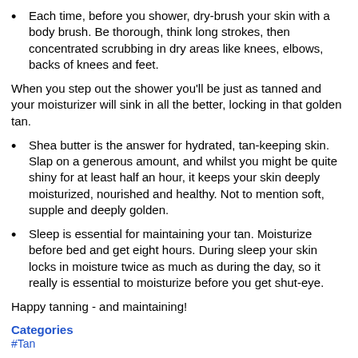Each time, before you shower, dry-brush your skin with a body brush. Be thorough, think long strokes, then concentrated scrubbing in dry areas like knees, elbows, backs of knees and feet.
When you step out the shower you'll be just as tanned and your moisturizer will sink in all the better, locking in that golden tan.
Shea butter is the answer for hydrated, tan-keeping skin. Slap on a generous amount, and whilst you might be quite shiny for at least half an hour, it keeps your skin deeply moisturized, nourished and healthy. Not to mention soft, supple and deeply golden.
Sleep is essential for maintaining your tan. Moisturize before bed and get eight hours. During sleep your skin locks in moisture twice as much as during the day, so it really is essential to moisturize before you get shut-eye.
Happy tanning - and maintaining!
Categories
#Tan